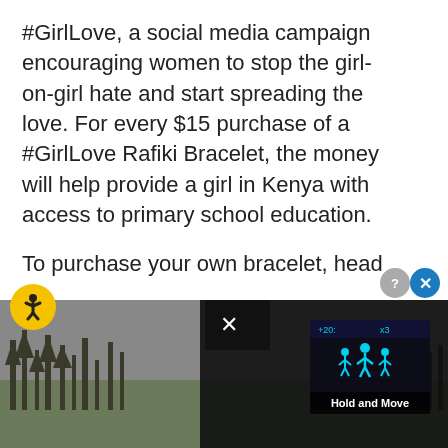#GirlLove, a social media campaign encouraging women to stop the girl-on-girl hate and start spreading the love. For every $15 purchase of a #GirlLove Rafiki Bracelet, the money will help provide a girl in Kenya with access to primary school education.
To purchase your own bracelet, head to www.we.org/GirlLove
20+ pics inside of Sabrina Carpenter, Olivia Holt and more...
[Figure (screenshot): Advertisement overlay showing a video player with a dark screen displaying walking figure icons in cyan color and text 'Hold and Move'. A close button (X) is visible in the top-right area of the overlay. An accessibility icon (yellow circle with figure) appears at the left. Additional close/info buttons at far right.]